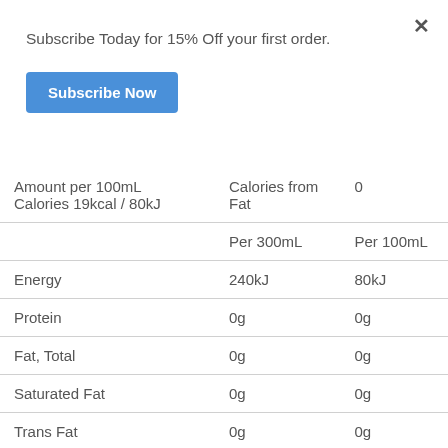Subscribe Today for 15% Off your first order.
Subscribe Now
|  | Per 300mL | Per 100mL |
| --- | --- | --- |
| Amount per 100mL  Calories 19kcal / 80kJ | Calories from Fat | 0 |
|  | Per 300mL | Per 100mL |
| Energy | 240kJ | 80kJ |
| Protein | 0g | 0g |
| Fat, Total | 0g | 0g |
| Saturated Fat | 0g | 0g |
| Trans Fat | 0g | 0g |